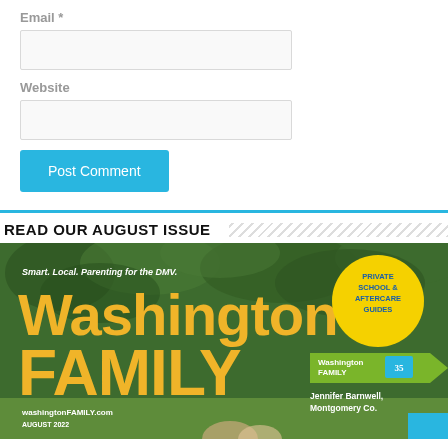Email *
Website
Post Comment
READ OUR AUGUST ISSUE
[Figure (photo): Washington Family magazine August 2022 cover featuring tagline 'Smart. Local. Parenting for the DMV.' with yellow 'Private School & Aftercare Guides' circle badge, Washington Family logo, Jennifer Barnwell Montgomery Co. credit, and washingtonFAMILY.com website.]